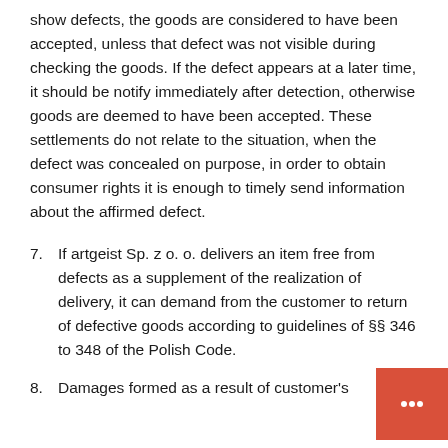show defects, the goods are considered to have been accepted, unless that defect was not visible during checking the goods. If the defect appears at a later time, it should be notify immediately after detection, otherwise goods are deemed to have been accepted. These settlements do not relate to the situation, when the defect was concealed on purpose, in order to obtain consumer rights it is enough to timely send information about the affirmed defect.
7. If artgeist Sp. z o. o. delivers an item free from defects as a supplement of the realization of delivery, it can demand from the customer to return of defective goods according to guidelines of §§ 346 to 348 of the Polish Code.
8. Damages formed as a result of customer's